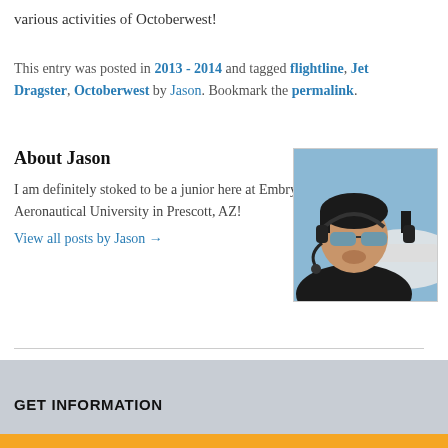various activities of Octoberwest!
This entry was posted in 2013 - 2014 and tagged flightline, Jet Dragster, Octoberwest by Jason. Bookmark the permalink.
About Jason
I am definitely stoked to be a junior here at Embry-Riddle Aeronautical University in Prescott, AZ!
View all posts by Jason →
[Figure (photo): Photo of Jason wearing a headset and sunglasses, seated in a small aircraft cockpit with sky visible in background]
Comments are closed.
GET INFORMATION